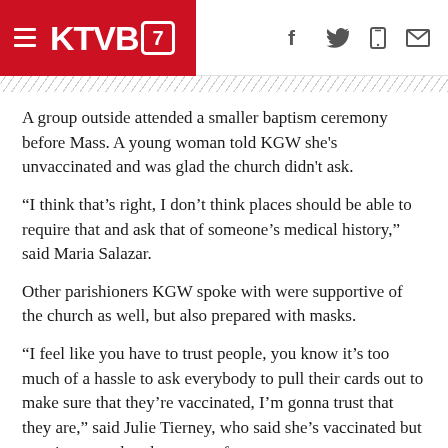KTVB7 navigation header with hamburger menu, KTVB7 logo, and social icons (Facebook, Twitter, mobile, email)
A group outside attended a smaller baptism ceremony before Mass. A young woman told KGW she's unvaccinated and was glad the church didn't ask.
“I think that’s right, I don’t think places should be able to require that and ask that of someone’s medical history,” said Maria Salazar.
Other parishioners KGW spoke with were supportive of the church as well, but also prepared with masks.
“I feel like you have to trust people, you know it’s too much of a hassle to ask everybody to pull their cards out to make sure that they’re vaccinated, I’m gonna trust that they are,” said Julie Tierney, who said she’s vaccinated but wearing a mask to be extra safe.